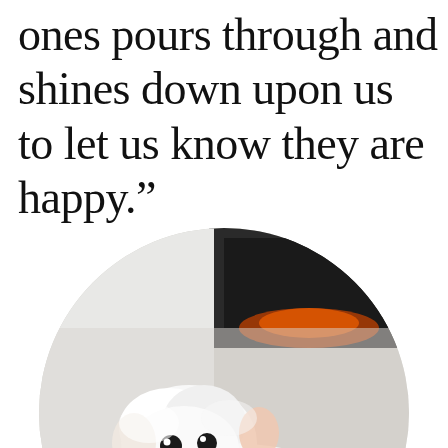ones pours through and shines down upon us to let us know they are happy.”
[Figure (photo): A fluffy white Maltese or Bichon Frise dog lying flat on a wooden floor, looking at the camera with dark eyes and a dark nose. A fireplace is visible in the blurred background. The photo is cropped in a circular shape.]